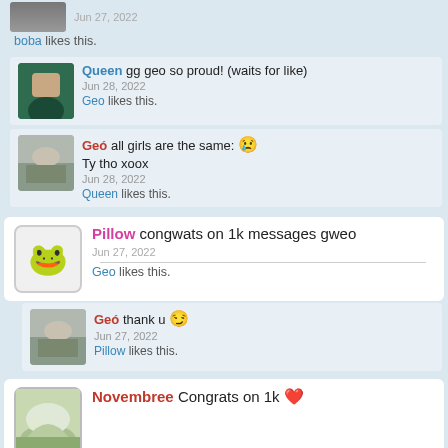Jun 27, 2022
boba likes this.
Queen gg geo so proud! (waits for like)
Jun 28, 2022
Geo likes this.
Geó all girls are the same: 😢
Ty tho xoox
Jun 28, 2022
Queen likes this.
Pillow congwats on 1k messages gweo
Jun 27, 2022
Geo likes this.
Geó thank u 😏
Jun 27, 2022
Pillow likes this.
Novembree Congrats on 1k ❤️